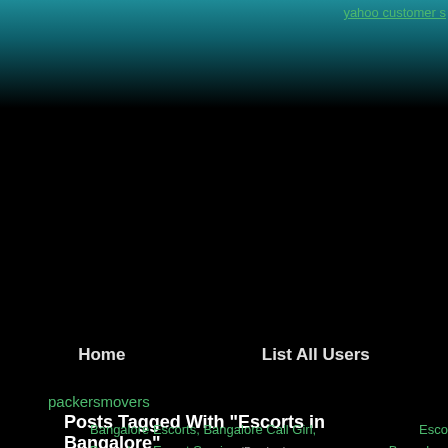yahoo customer s
Home    List All Users
packersmovers
Posts Tagged With "Escorts in Bangalore"
Bangalore Escorts, Bangalore Call Girl, Bangalore Escort Service (Preview)
Esco Bangalore Bangalore Escorts Ba Bangalor Female Bangalore
Bangalore Escorts, Bangalore Call Girl, Bangalore Escort Service (Preview)
Esco Bangalore Bangalore Escorts Ba Bangalo